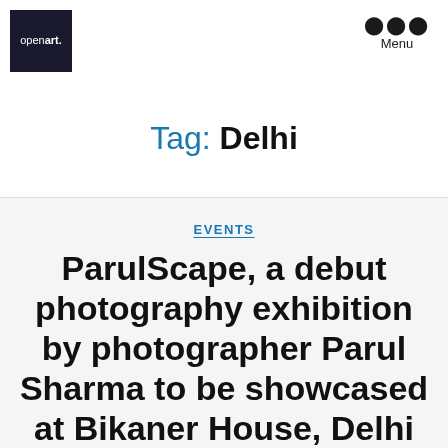openart. Menu
Tag: Delhi
EVENTS
ParulScape, a debut photography exhibition by photographer Parul Sharma to be showcased at Bikaner House, Delhi